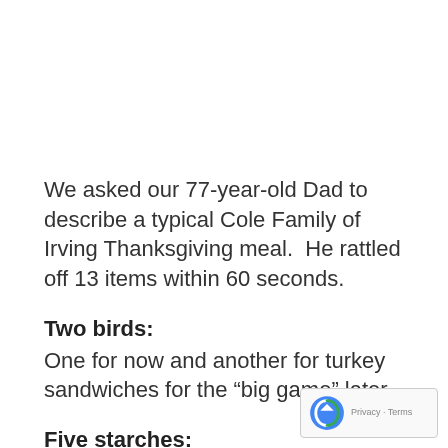We asked our 77-year-old Dad to describe a typical Cole Family of Irving Thanksgiving meal. He rattled off 13 items within 60 seconds.
Two birds:
One for now and another for turkey sandwiches for the “big game” later.
Five starches:
Mashed potatoes, sweet potatoes, corn bread dressing, rolls, peas (not enough vitamins to be a